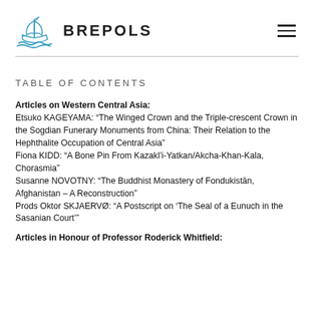[Figure (logo): Brepols publisher logo: blue ship/book icon with text BREPOLS in bold capital letters]
TABLE OF CONTENTS
Articles on Western Central Asia:
Etsuko KAGEYAMA: “The Winged Crown and the Triple-crescent Crown in the Sogdian Funerary Monuments from China: Their Relation to the Hephthalite Occupation of Central Asia”
Fiona KIDD: “A Bone Pin From Kazakl’i-Yatkan/Akcha-Khan-Kala, Chorasmia”
Susanne NOVOTNY: “The Buddhist Monastery of Fondukistān, Afghanistan – A Reconstruction”
Prods Oktor SKJAERVØ: “A Postscript on ‘The Seal of a Eunuch in the Sasanian Court’”
Articles in Honour of Professor Roderick Whitfield: